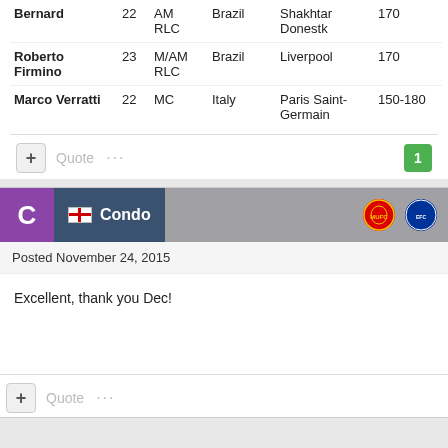| Name | # | Pos | Nationality | Club | Value |
| --- | --- | --- | --- | --- | --- |
| Bernard | 22 | AM RLC | Brazil | Shakhtar Donestk | 170 |
| Roberto Firmino | 23 | M/AM RLC | Brazil | Liverpool | 170 |
| Marco Verratti | 22 | MC | Italy | Paris Saint-Germain | 150-180 |
+ Quote ··· 1
C Condo — Posted November 24, 2015
Excellent, thank you Dec!
+ Quote ···